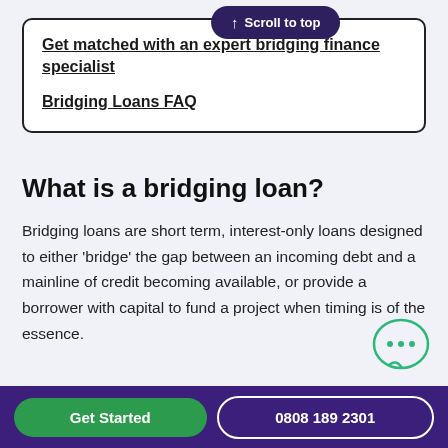Get matched with an expert bridging finance specialist
Bridging Loans FAQ
What is a bridging loan?
Bridging loans are short term, interest-only loans designed to either ‘bridge’ the gap between an incoming debt and a mainline of credit becoming available, or provide a borrower with capital to fund a project when timing is of the essence.
Get Started  0808 189 2301